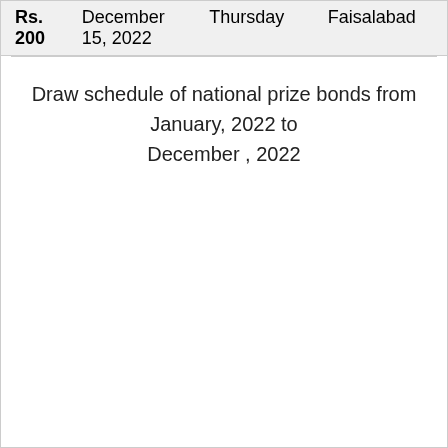| Rs. 200 | December 15, 2022 | Thursday | Faisalabad |
Draw schedule of national prize bonds from January, 2022 to December , 2022